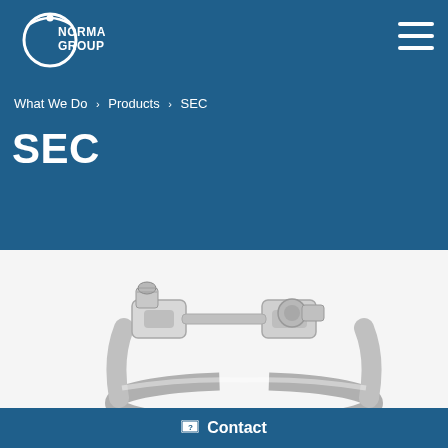[Figure (logo): NORMA GROUP logo - white circular logo with dot and arc on blue background with NORMA GROUP text]
What We Do > Products > SEC
SEC
[Figure (photo): Close-up photo of a metal hose clamp (SEC type) showing bolted ear clamp mechanism with stainless steel construction on white/light grey background]
Contact